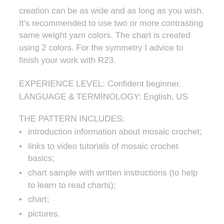creation can be as wide and as long as you wish. It's recommended to use two or more contrasting same weight yarn colors. The chart is created using 2 colors. For the symmetry I advice to finish your work with R23.
EXPERIENCE LEVEL: Confident beginner.
LANGUAGE & TERMINOLOGY: English, US
THE PATTERN INCLUDES:
introduction information about mosaic crochet;
links to video tutorials of mosaic crochet basics;
chart sample with written instructions (to help to learn to read charts);
chart;
pictures.